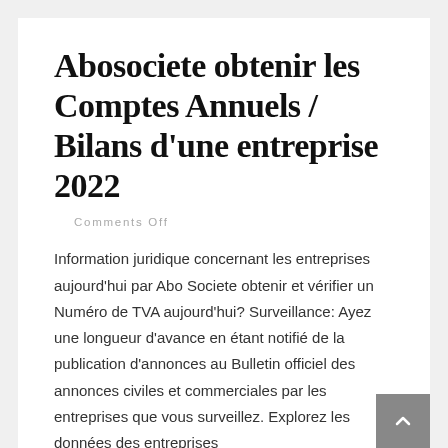Abosociete obtenir les Comptes Annuels / Bilans d’une entreprise 2022
Comments Off
Information juridique concernant les entreprises aujourd'hui par Abo Societe obtenir et vérifier un Numéro de TVA aujourd'hui? Surveillance: Ayez une longueur d'avance en étant notifié de la publication d'annonces au Bulletin officiel des annonces civiles et commerciales par les entreprises que vous surveillez. Explorez les données des entreprises